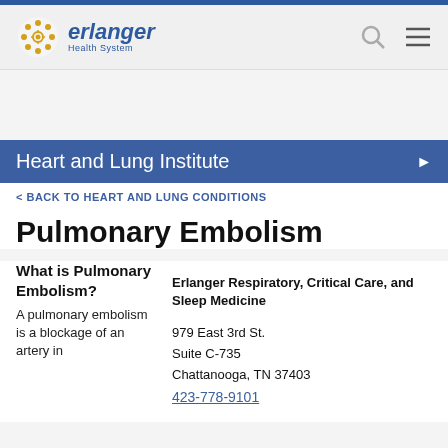[Figure (logo): Erlanger Health System logo with golden flower icon and blue text]
Heart and Lung Institute
< BACK TO HEART AND LUNG CONDITIONS
Pulmonary Embolism
What is Pulmonary Embolism?
Erlanger Respiratory, Critical Care, and Sleep Medicine
979 East 3rd St.
Suite C-735
Chattanooga, TN 37403
423-778-9101
A pulmonary embolism is a blockage of an artery in